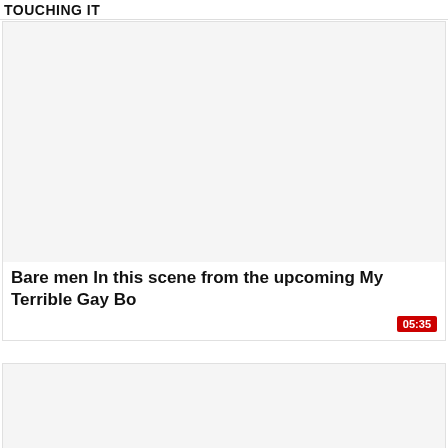TOUCHING IT
[Figure (screenshot): Video thumbnail placeholder, white/light grey background]
05:35
Bare men In this scene from the upcoming My Terrible Gay Bo
[Figure (screenshot): Second video thumbnail placeholder, white/light grey background]